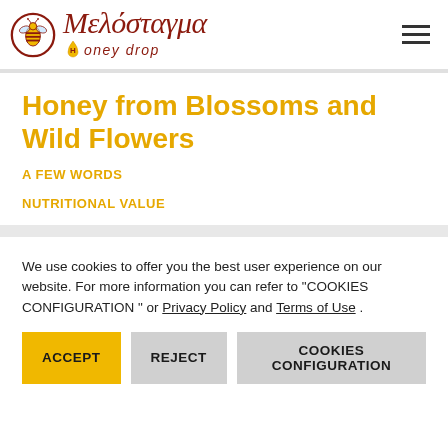[Figure (logo): Melostagma Honey Drop logo with bee icon in a circle and Greek script text, followed by 'Honey drop' with a honey drop icon]
Honey from Blossoms and Wild Flowers
A FEW WORDS
NUTRITIONAL VALUE
We use cookies to offer you the best user experience on our website. For more information you can refer to "COOKIES CONFIGURATION " or Privacy Policy and Terms of Use .
ACCEPT | REJECT | COOKIES CONFIGURATION